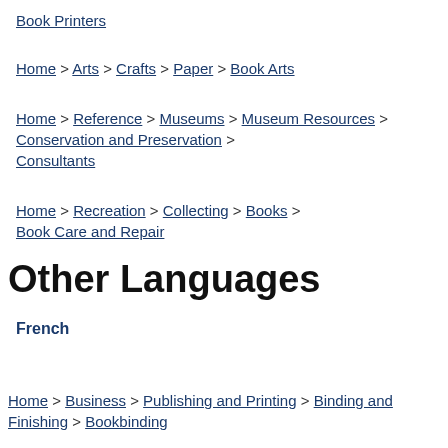Book Printers
Home > Arts > Crafts > Paper > Book Arts
Home > Reference > Museums > Museum Resources > Conservation and Preservation > Consultants
Home > Recreation > Collecting > Books > Book Care and Repair
Other Languages
French
Home > Business > Publishing and Printing > Binding and Finishing > Bookbinding